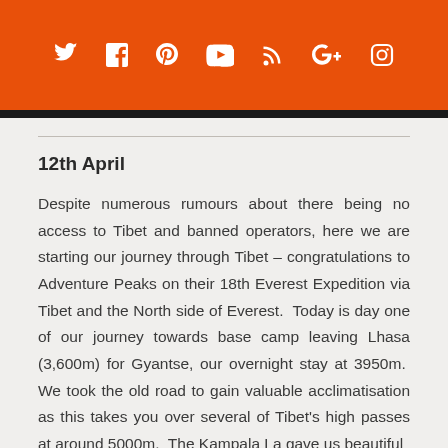social media icons: Twitter, Facebook, Pinterest, YouTube, RSS, Google+, Instagram
12th April
Despite numerous rumours about there being no access to Tibet and banned operators, here we are starting our journey through Tibet – congratulations to Adventure Peaks on their 18th Everest Expedition via Tibet and the North side of Everest. Today is day one of our journey towards base camp leaving Lhasa (3,600m) for Gyantse, our overnight stay at 3950m. We took the old road to gain valuable acclimatisation as this takes you over several of Tibet's high passes at around 5000m. The Kampala La gave us beautiful